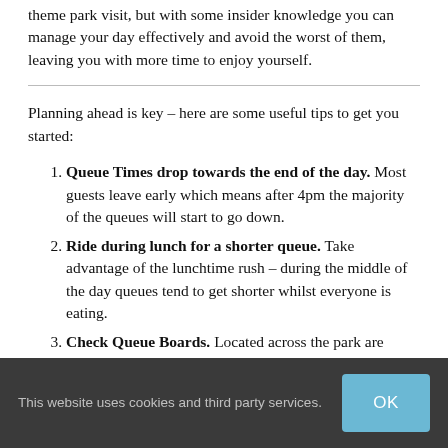theme park visit, but with some insider knowledge you can manage your day effectively and avoid the worst of them, leaving you with more time to enjoy yourself.
Planning ahead is key – here are some useful tips to get you started:
Queue Times drop towards the end of the day. Most guests leave early which means after 4pm the majority of the queues will start to go down.
Ride during lunch for a shorter queue. Take advantage of the lunchtime rush – during the middle of the day queues tend to get shorter whilst everyone is eating.
Check Queue Boards. Located across the park are electronic boards displaying all the major rides queue times. Use these to plan your next move!
This website uses cookies and third party services.